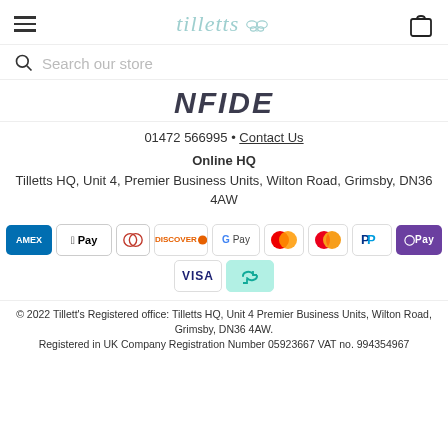tilletts (logo with butterfly icon)
Search our store
[Figure (other): Partial text banner showing 'NFIDE' (portion of word CONFIDENCE)]
01472 566995 • Contact Us
Online HQ
Tilletts HQ, Unit 4, Premier Business Units, Wilton Road, Grimsby, DN36 4AW
[Figure (other): Payment method icons: Amex, Apple Pay, Diners, Discover, Google Pay, Maestro, Mastercard, PayPal, OPay, Visa, Afterpay]
© 2022 Tillett's Registered office: Tilletts HQ, Unit 4 Premier Business Units, Wilton Road, Grimsby, DN36 4AW. Registered in UK Company Registration Number 05923667 VAT no. 994354967